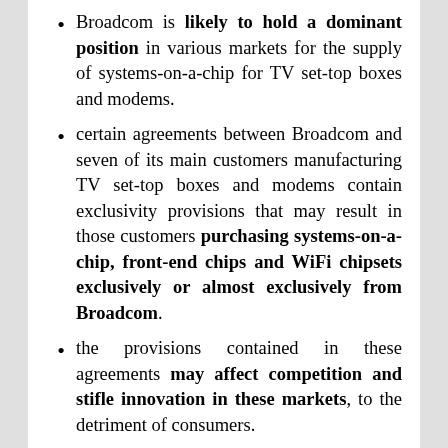Broadcom is likely to hold a dominant position in various markets for the supply of systems-on-a-chip for TV set-top boxes and modems.
certain agreements between Broadcom and seven of its main customers manufacturing TV set-top boxes and modems contain exclusivity provisions that may result in those customers purchasing systems-on-a-chip, front-end chips and WiFi chipsets exclusively or almost exclusively from Broadcom.
the provisions contained in these agreements may affect competition and stifle innovation in these markets, to the detriment of consumers.